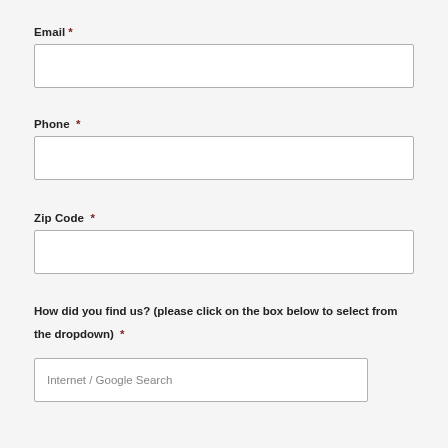Email *
Phone *
Zip Code *
How did you find us? (please click on the box below to select from the dropdown) *
Internet / Google Search